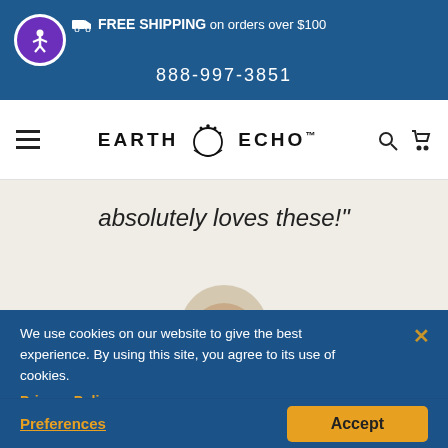FREE SHIPPING on orders over $100  888-997-3851
[Figure (logo): Earth Echo logo with circular icon between EARTH and ECHO text]
absolutely loves these!"
We use cookies on our website to give the best experience. By using this site, you agree to its use of cookies.
Privacy Policy
CONNIE H.
"Cacao Bliss is so delicious! My family absolutely loves it. It helps me sleep so soundly!"
Preferences
Accept